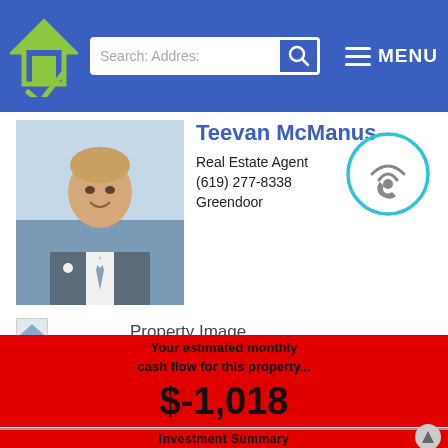Search: Address | MENU
Teevan McManus
Real Estate Agent
(619) 277-8338
Greendoor
[Figure (photo): Headshot photo of real estate agent Teevan McManus, a man in a suit smiling]
[Figure (photo): Call/contact icon - phone with wifi signal]
[Figure (photo): Property image placeholder with small thumbnail]
Property Image
Your estimated monthly cash flow for this property...
$-1,018
Investment Summary